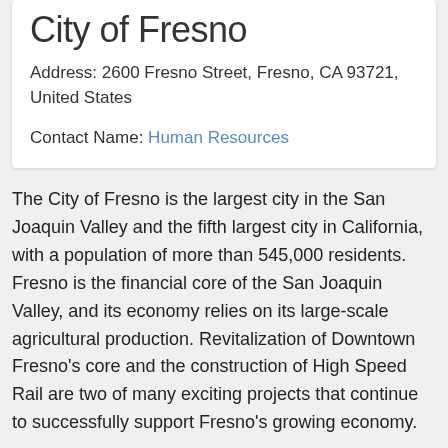City of Fresno
Address: 2600 Fresno Street, Fresno, CA 93721, United States
Contact Name: Human Resources
The City of Fresno is the largest city in the San Joaquin Valley and the fifth largest city in California, with a population of more than 545,000 residents. Fresno is the financial core of the San Joaquin Valley, and its economy relies on its large-scale agricultural production. Revitalization of Downtown Fresno's core and the construction of High Speed Rail are two of many exciting projects that continue to successfully support Fresno's growing economy.
Located in the geographical center of California, Fresno offers many sights. From fertile agricultural fields, an abundance of lakes, and the snowy Sierra Nevada mountain range, the scenic